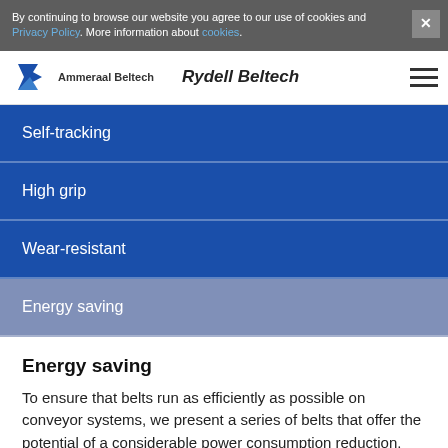By continuing to browse our website you agree to our use of cookies and Privacy Policy. More information about cookies.
Ammeraal Beltech | Rydell Beltech
Self-tracking
High grip
Wear-resistant
Energy saving
Energy saving
To ensure that belts run as efficiently as possible on conveyor systems, we present a series of belts that offer the potential of a considerable power consumption reduction.